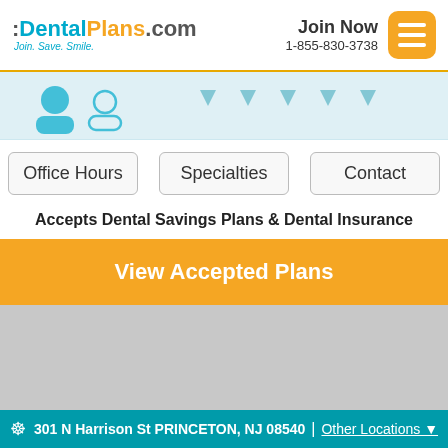DentalPlans.com Join. Save. Smile. | Join Now 1-855-830-3738
[Figure (illustration): Light blue banner with partial dental/person illustration icons and downward arrow indicators]
Office Hours
Specialties
Contact
Accepts Dental Savings Plans & Dental Insurance
View Accepted Plans
[Figure (map): Gray map/content placeholder area]
301 N Harrison St PRINCETON, NJ 08540 | Other Locations